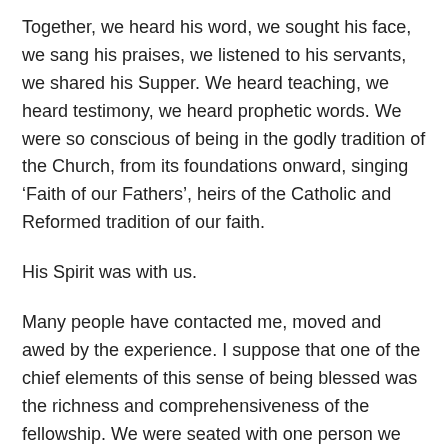Together, we heard his word, we sought his face, we sang his praises, we listened to his servants, we shared his Supper. We heard teaching, we heard testimony, we heard prophetic words. We were so conscious of being in the godly tradition of the Church, from its foundations onward, singing ‘Faith of our Fathers’, heirs of the Catholic and Reformed tradition of our faith.
His Spirit was with us.
Many people have contacted me, moved and awed by the experience. I suppose that one of the chief elements of this sense of being blessed was the richness and comprehensiveness of the fellowship. We were seated with one person we knew and with